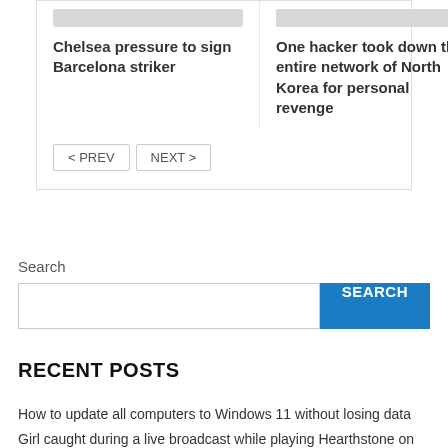Chelsea pressure to sign Barcelona striker
One hacker took down the entire network of North Korea for personal revenge
< PREV
NEXT >
Search
SEARCH
RECENT POSTS
How to update all computers to Windows 11 without losing data
Girl caught during a live broadcast while playing Hearthstone on Twitch